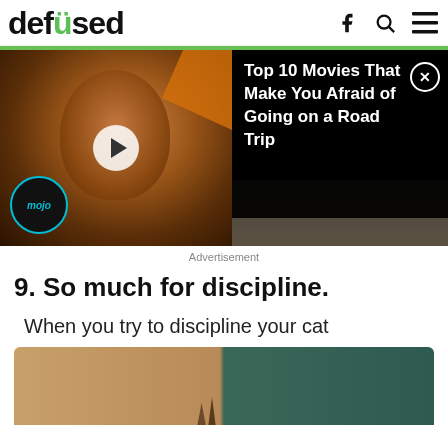defused
[Figure (screenshot): Video thumbnail showing a man's face with a mojo watermark logo, overlaid with a dark popup ad reading 'Top 10 Movies That Make You Afraid of Going on a Road Trip' with a close button]
Advertisement
9. So much for discipline.
When you try to discipline your cat
[Figure (photo): Split image of two cats peeking over the edge of a wooden surface]